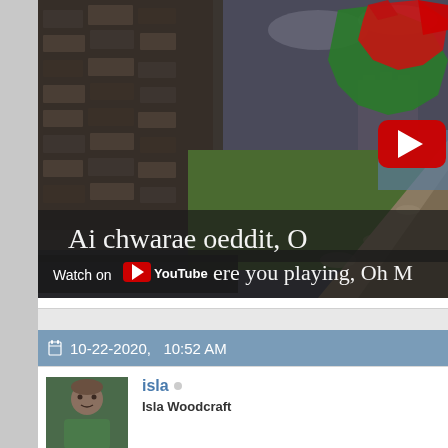[Figure (screenshot): YouTube video thumbnail showing a Welsh castle with a cobblestone path, a Welsh dragon overlaid on a map of Wales with a YouTube play button. Text overlay reads 'Ai chwarae oeddit, O' and 'Watch on YouTube / were you playing, Oh M']
10-22-2020, 10:52 AM
[Figure (photo): Avatar photo of a man in a green shirt]
isla
Isla Woodcraft